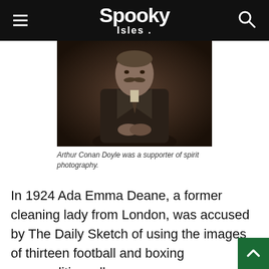Spooky Isles
[Figure (photo): Black and white portrait photograph of Arthur Conan Doyle, an older gentleman with a mustache, seated with hands clasped, wearing a dark suit.]
Arthur Conan Doyle was a supporter of spirit photography.
In 1924 Ada Emma Deane, a former cleaning lady from London, was accused by The Daily Sketch of using the images of thirteen football and boxing personalities, all ve